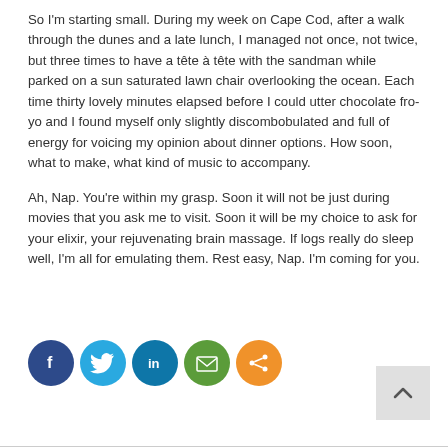So I'm starting small. During my week on Cape Cod, after a walk through the dunes and a late lunch, I managed not once, not twice, but three times to have a tête à tête with the sandman while parked on a sun saturated lawn chair overlooking the ocean. Each time thirty lovely minutes elapsed before I could utter chocolate fro-yo and I found myself only slightly discombobulated and full of energy for voicing my opinion about dinner options. How soon, what to make, what kind of music to accompany.
Ah, Nap. You're within my grasp. Soon it will not be just during movies that you ask me to visit. Soon it will be my choice to ask for your elixir, your rejuvenating brain massage. If logs really do sleep well, I'm all for emulating them. Rest easy, Nap. I'm coming for you.
[Figure (infographic): Social sharing icons: Facebook (dark blue), Twitter (light blue), LinkedIn (blue), Email (green), Share (orange). Back-to-top arrow button in light grey at bottom right.]